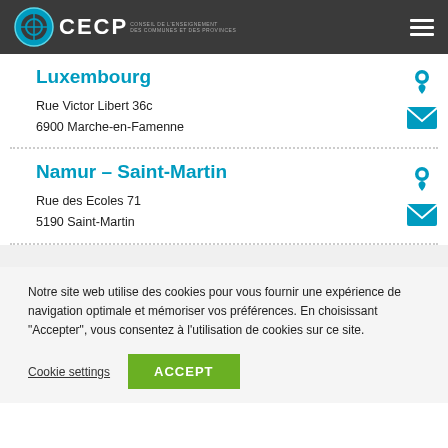CECP
Luxembourg
Rue Victor Libert 36c
6900 Marche-en-Famenne
Namur – Saint-Martin
Rue des Ecoles 71
5190 Saint-Martin
Notre site web utilise des cookies pour vous fournir une expérience de navigation optimale et mémoriser vos préférences. En choisissant "Accepter", vous consentez à l'utilisation de cookies sur ce site.
Cookie settings
ACCEPT